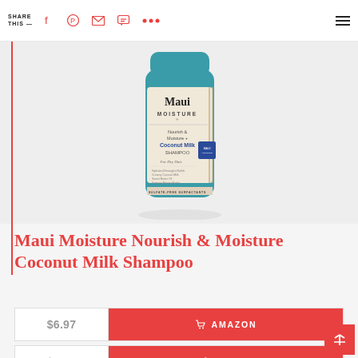SHARE THIS —
[Figure (photo): Maui Moisture Nourish & Moisture + Coconut Milk Shampoo bottle with teal cap and beige/white label]
Maui Moisture Nourish & Moisture Coconut Milk Shampoo
| Price | Store |
| --- | --- |
| $6.97 | AMAZON |
| $8.99 | ULTA |